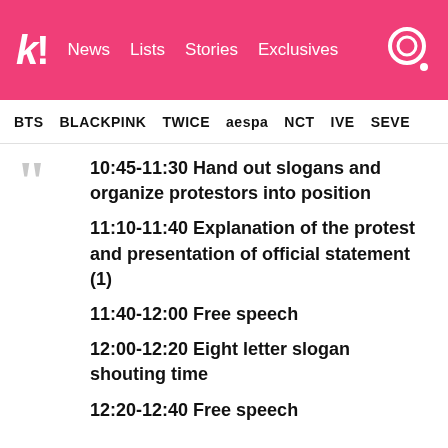kl! News Lists Stories Exclusives
BTS BLACKPINK TWICE aespa NCT IVE SEVE
10:45-11:30 Hand out slogans and organize protestors into position
11:10-11:40 Explanation of the protest and presentation of official statement (1)
11:40-12:00 Free speech
12:00-12:20 Eight letter slogan shouting time
12:20-12:40 Free speech